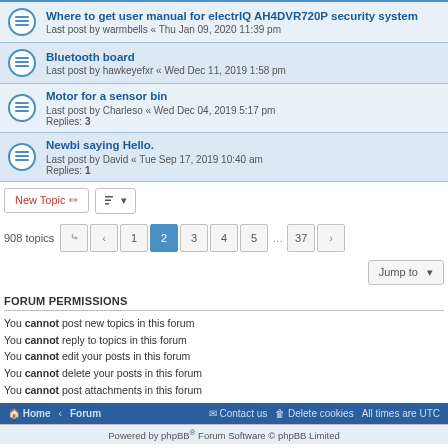Where to get user manual for electrIQ AH4DVR720P security system
Last post by warmbells « Thu Jan 09, 2020 11:39 pm
Bluetooth board
Last post by hawkeyefxr « Wed Dec 11, 2019 1:58 pm
Motor for a sensor bin
Last post by Charleso « Wed Dec 04, 2019 5:17 pm
Replies: 3
Newbi saying Hello.
Last post by David « Tue Sep 17, 2019 10:40 am
Replies: 1
New Topic | Sort | 908 topics | Page navigation: 1 2 3 4 5 ... 37
Jump to
FORUM PERMISSIONS
You cannot post new topics in this forum
You cannot reply to topics in this forum
You cannot edit your posts in this forum
You cannot delete your posts in this forum
You cannot post attachments in this forum
Home · Forum | Contact us | Delete cookies | All times are UTC
Powered by phpBB® Forum Software © phpBB Limited